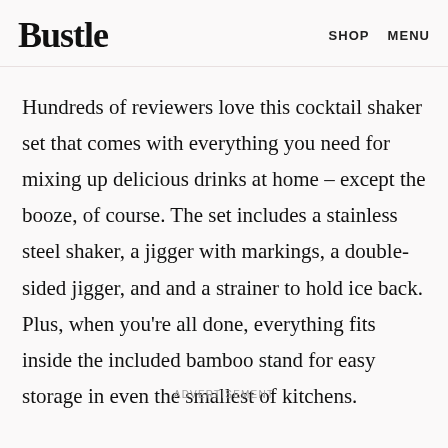Bustle   SHOP   MENU
Hundreds of reviewers love this cocktail shaker set that comes with everything you need for mixing up delicious drinks at home – except the booze, of course. The set includes a stainless steel shaker, a jigger with markings, a double-sided jigger, and and a strainer to hold ice back. Plus, when you're all done, everything fits inside the included bamboo stand for easy storage in even the smallest of kitchens.
ADVERTISEMENT